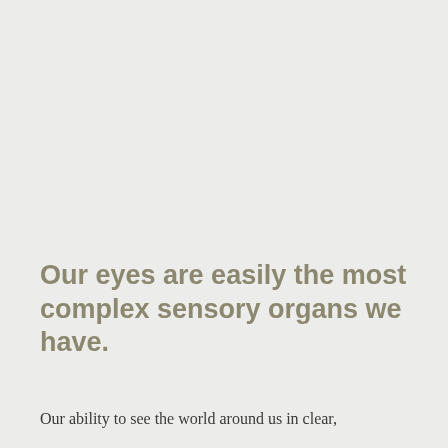Our eyes are easily the most complex sensory organs we have.
Our ability to see the world around us in clear,